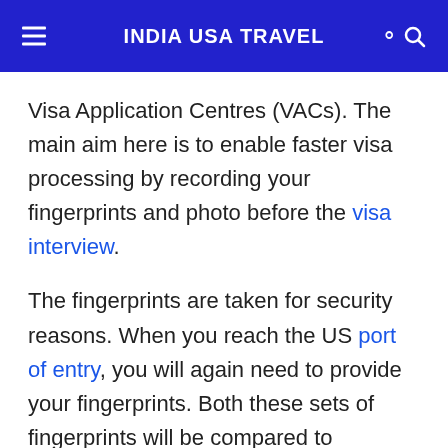INDIA USA TRAVEL
Visa Application Centres (VACs). The main aim here is to enable faster visa processing by recording your fingerprints and photo before the visa interview.
The fingerprints are taken for security reasons. When you reach the US port of entry, you will again need to provide your fingerprints. Both these sets of fingerprints will be compared to determine your identity.